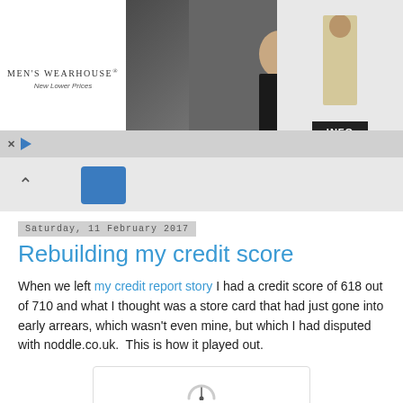[Figure (screenshot): Men's Wearhouse advertisement banner with couple in formal wear and man in tan suit, with INFO button]
[Figure (screenshot): Navigation chevron up arrow and blue tab element on grey bar]
Saturday, 11 February 2017
Rebuilding my credit score
When we left my credit report story I had a credit score of 618 out of 710 and what I thought was a store card that had just gone into early arrears, which wasn't even mine, but which I had disputed with noddle.co.uk.  This is how it played out.
[Figure (screenshot): Credit score card widget showing gauge icon, MY CREDIT SCORE label, and score of 618 in green badge]